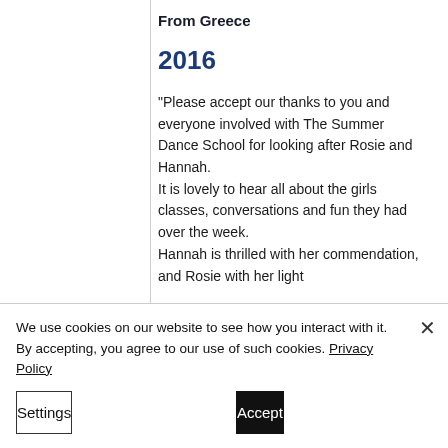From Greece
2016
"Please accept our thanks to you and everyone involved with The Summer Dance School for looking after Rosie and Hannah.
It is lovely to hear all about the girls classes, conversations and fun they had over the week.
Hannah is thrilled with her commendation, and Rosie with her light
We use cookies on our website to see how you interact with it. By accepting, you agree to our use of such cookies. Privacy Policy
Settings
Accept